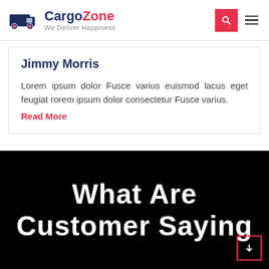[Figure (logo): CargoZone logo with truck icon and tagline 'We Deliver Happiness']
Jimmy Morris
Lorem ipsum dolor Fusce varius euismod lacus eget feugiat rorem ipsum dolor consectetur Fusce varius.
Read More
What Are Customer Saying